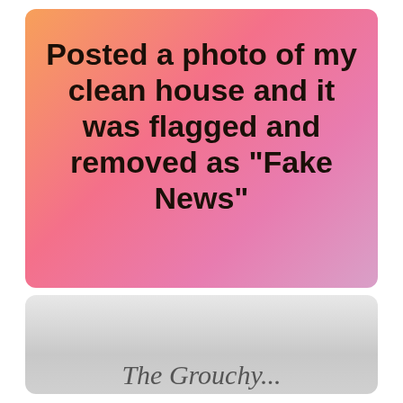[Figure (infographic): Pink-orange gradient card with bold black text reading: Posted a photo of my clean house and it was flagged and removed as "Fake News"]
Posted a photo of my clean house and it was flagged and removed as "Fake News"
[Figure (infographic): Gray gradient card with a partially visible cursive/script signature at the bottom]